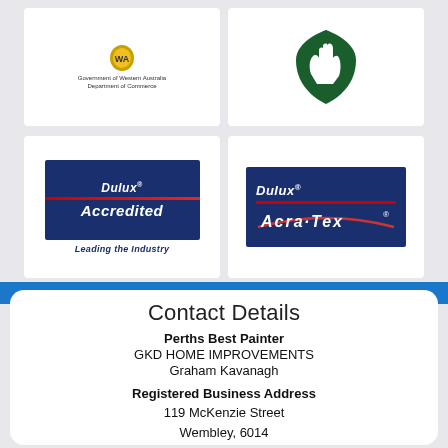[Figure (logo): Government of Western Australia Department of Commerce logo with shield emblem and text]
[Figure (logo): Green hand/shield icon logo]
[Figure (logo): Dulux Accredited - Leading the Industry logo on dark blue background with red stripe]
[Figure (logo): Dulux Acra-Tex logo on dark blue background with red stripe and arc design]
Contact Details
Perths Best Painter
GKD HOME IMPROVEMENTS
Graham Kavanagh
Registered Business Address
119 McKenzie Street
Wembley, 6014